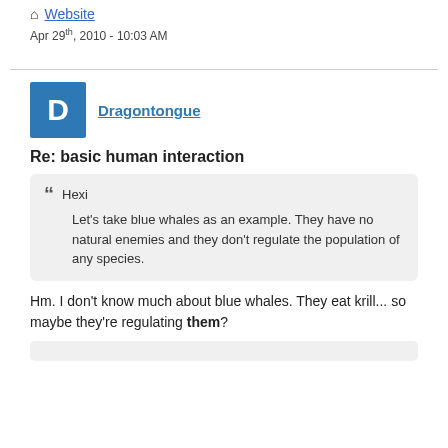Website
Apr 29th, 2010 - 10:03 AM
Dragontongue
Re: basic human interaction
Hexi
Let's take blue whales as an example. They have no natural enemies and they don't regulate the population of any species.
Hm. I don't know much about blue whales. They eat krill... so maybe they're regulating them?